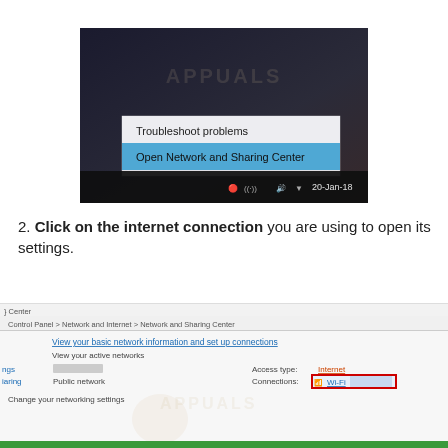[Figure (screenshot): Windows taskbar right-click context menu showing 'Troubleshoot problems' and 'Open Network and Sharing Center' options highlighted in blue, with system tray icons and date 20-Jan-18]
2. Click on the internet connection you are using to open its settings.
[Figure (screenshot): Windows Network and Sharing Center showing breadcrumb navigation, 'View your basic network information and set up connections', active networks with Public network, Access type: Internet, Connections: Wi-Fi highlighted with red box]